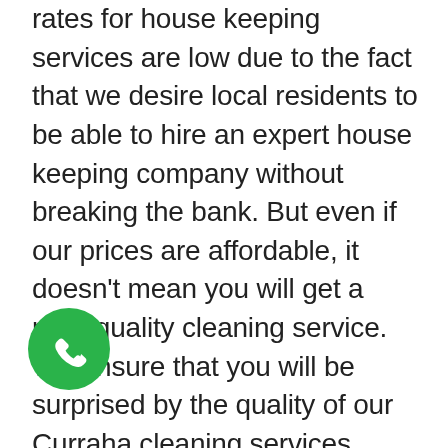rates for house keeping services are low due to the fact that we desire local residents to be able to hire an expert house keeping company without breaking the bank. But even if our prices are affordable, it doesn't mean you will get a poor quality cleaning service. We ensure that you will be surprised by the quality of our Curraha cleaning services. Unlike other cleaning business, we have a cash back assurance. So you have nothing to lose! Book a cleaner and you will conserve great deals of money and time! Hire us for cleaning and the outcomes will make you beam from ear to ear. We have a big customer base that makes us the premier cleaning company in Curraha. We stick out from the rest due to the fact that we know the best
[Figure (other): Green circular phone call button icon in bottom-left area]